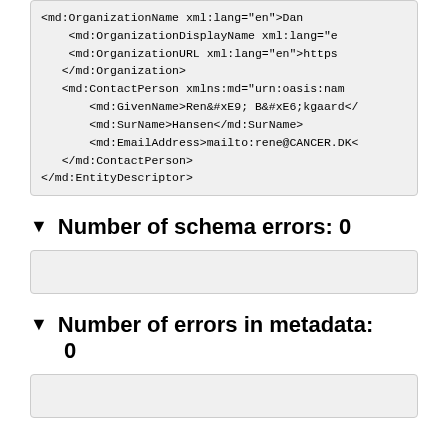<md:OrganizationName xml:lang="en">Dan...
    <md:OrganizationDisplayName xml:lang="e...
    <md:OrganizationURL xml:lang="en">https...
    </md:Organization>
    <md:ContactPerson xmlns:md="urn:oasis:nam...
        <md:GivenName>Ren&#xE9; B&#xE6;kgaard</...
        <md:SurName>Hansen</md:SurName>
        <md:EmailAddress>mailto:rene@CANCER.DK<...
    </md:ContactPerson>
</md:EntityDescriptor>
▼ Number of schema errors: 0
▼ Number of errors in metadata: 0